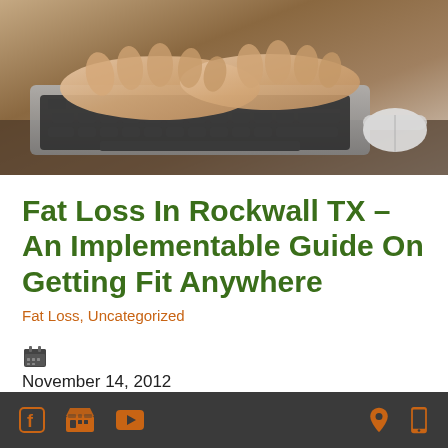[Figure (photo): Hands typing on a laptop keyboard with a white mouse visible on the right, warm-toned photo]
Fat Loss In Rockwall TX – An Implementable Guide On Getting Fit Anywhere
Fat Loss, Uncategorized
November 14, 2012
Social media icons: Facebook, Store, YouTube on left; Location pin and Mobile phone on right